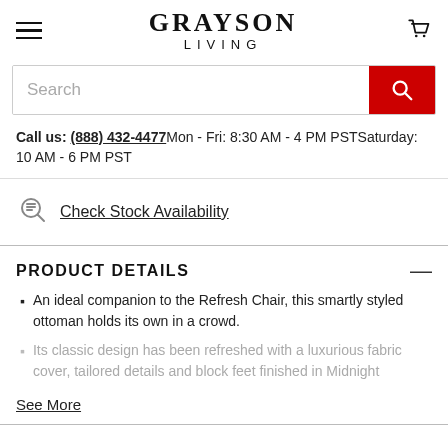GRAYSON LIVING
Search
Call us: (888) 432-4477 Mon - Fri: 8:30 AM - 4 PM PST Saturday: 10 AM - 6 PM PST
Check Stock Availability
PRODUCT DETAILS
An ideal companion to the Refresh Chair, this smartly styled ottoman holds its own in a crowd.
Its classic design has been refreshed with a luxurious fabric cover, tailored details and block feet finished in Midnight
See More